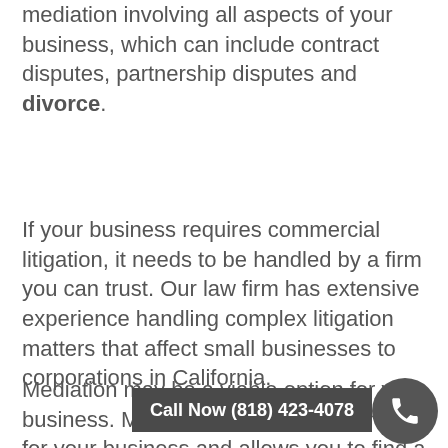mediation involving all aspects of your business, which can include contract disputes, partnership disputes and divorce.
If your business requires commercial litigation, it needs to be handled by a firm you can trust. Our law firm has extensive experience handling complex litigation matters that affect small businesses to corporations in California.
Mediation may be a viable option for your business. Mediation offers many benefits for your business and allows you to find a rea... our lawyers work hard to find a resolution